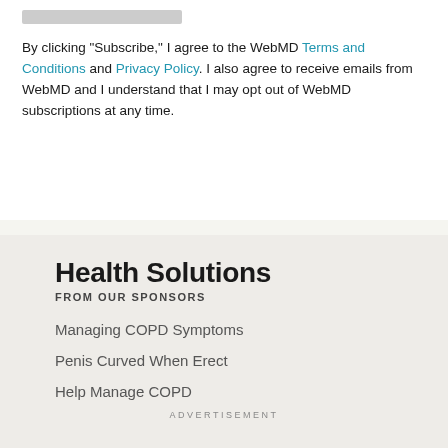[Figure (other): Gray placeholder bar at top of page]
By clicking "Subscribe," I agree to the WebMD Terms and Conditions and Privacy Policy. I also agree to receive emails from WebMD and I understand that I may opt out of WebMD subscriptions at any time.
Health Solutions
FROM OUR SPONSORS
Managing COPD Symptoms
Penis Curved When Erect
Help Manage COPD
ADVERTISEMENT